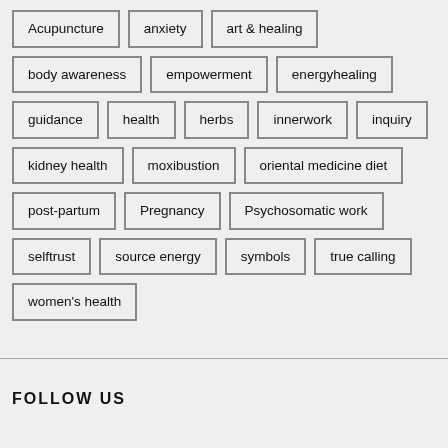Acupuncture
anxiety
art & healing
body awareness
empowerment
energyhealing
guidance
health
herbs
innerwork
inquiry
kidney health
moxibustion
oriental medicine diet
post-partum
Pregnancy
Psychosomatic work
selftrust
source energy
symbols
true calling
women's health
FOLLOW US